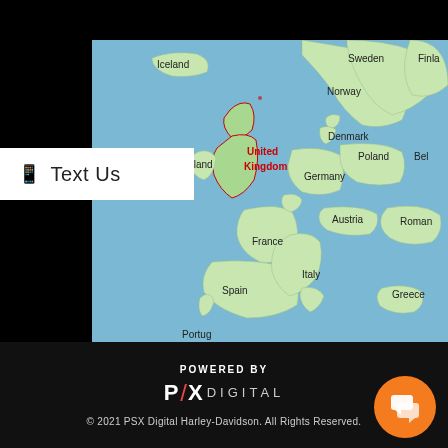[Figure (map): Map of Western Europe and North Atlantic showing Iceland, Sweden, Finland, Norway, Denmark, United Kingdom (highlighted in red), Ireland, Germany, Poland, Belgium, France, Austria, Romania, Spain, Italy, Greece, Portugal. UK is labeled in red text.]
Text Us
POWERED BY
P/X DIGITAL
© 2021 PSX Digital Harley-Davidson. All Rights Reserved.